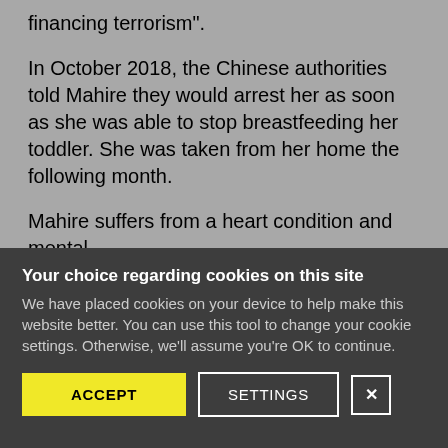authorities have charged her with "supporting and financing terrorism".
In October 2018, the Chinese authorities told Mahire they would arrest her as soon as she was able to stop breastfeeding her toddler. She was taken from her home the following month.
Mahire suffers from a heart condition and mental
Your choice regarding cookies on this site
We have placed cookies on your device to help make this website better. You can use this tool to change your cookie settings. Otherwise, we'll assume you're OK to continue.